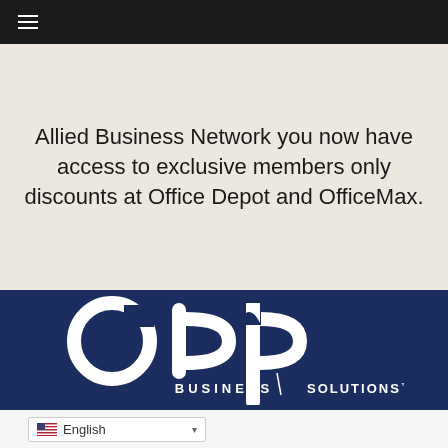≡
Allied Business Network you now have access to exclusive members only discounts at Office Depot and OfficeMax.
[Figure (logo): ODP Business Solutions logo — white letters 'odp' with stylized circular letterforms above the text 'BUSINESS SOLUTIONS™' on a dark navy blue background.]
English